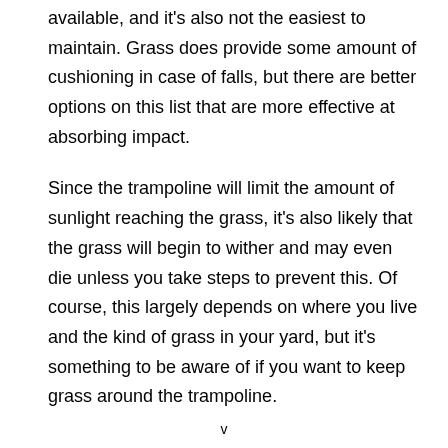available, and it's also not the easiest to maintain. Grass does provide some amount of cushioning in case of falls, but there are better options on this list that are more effective at absorbing impact.
Since the trampoline will limit the amount of sunlight reaching the grass, it's also likely that the grass will begin to wither and may even die unless you take steps to prevent this. Of course, this largely depends on where you live and the kind of grass in your yard, but it's something to be aware of if you want to keep grass around the trampoline.
v